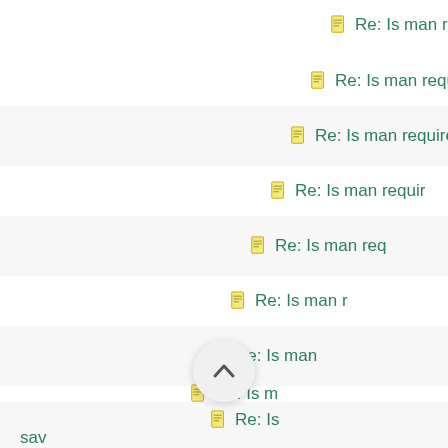Re: Is man required to
Re: Is man required
Re: Is man required
Re: Is man requir
Re: Is man req
Re: Is man r
Re: Is man
Re: Is m
Re: Is
Re:
sav